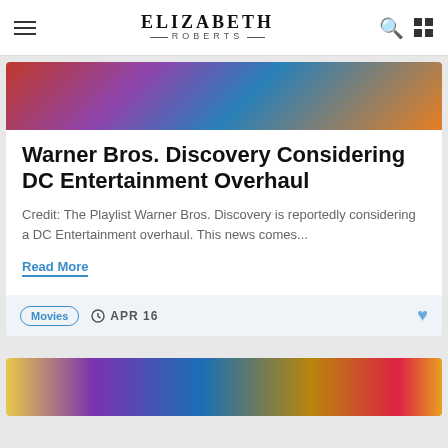ELIZABETH ROBERTS
[Figure (photo): Colorful fabric/costume image cropped at top of article card — red, blue, purple, yellow hues]
Warner Bros. Discovery Considering DC Entertainment Overhaul
Credit: The Playlist Warner Bros. Discovery is reportedly considering a DC Entertainment overhaul. This news comes...
Read More
Movies   APR 16
[Figure (photo): Comic book illustration showing Thor, Aquaman, and other DC/Marvel superhero characters in cosmic space setting]